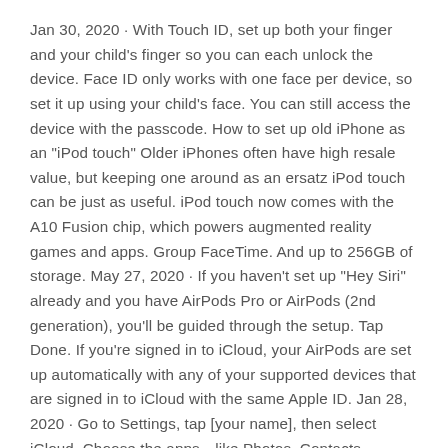Jan 30, 2020 · With Touch ID, set up both your finger and your child's finger so you can each unlock the device. Face ID only works with one face per device, so set it up using your child's face. You can still access the device with the passcode. How to set up old iPhone as an "iPod touch" Older iPhones often have high resale value, but keeping one around as an ersatz iPod touch can be just as useful. iPod touch now comes with the A10 Fusion chip, which powers augmented reality games and apps. Group FaceTime. And up to 256GB of storage. May 27, 2020 · If you haven't set up "Hey Siri" already and you have AirPods Pro or AirPods (2nd generation), you'll be guided through the setup. Tap Done. If you're signed in to iCloud, your AirPods are set up automatically with any of your supported devices that are signed in to iCloud with the same Apple ID. Jan 28, 2020 · Go to Settings, tap [your name], then select iCloud. Choose the apps—like Photos, Contacts, Calendars, and third-party apps—that you want to use with iCloud. Set up